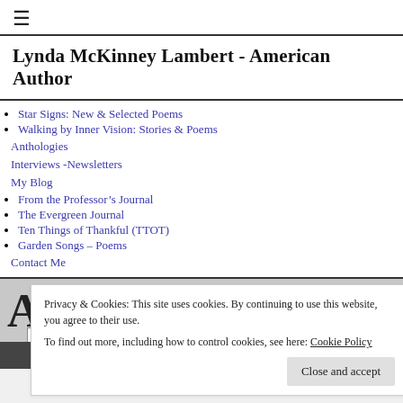☰
Lynda McKinney Lambert - American Author
Star Signs: New & Selected Poems
Walking by Inner Vision: Stories & Poems
Anthologies
Interviews -Newsletters
My Blog
From the Professor's Journal
The Evergreen Journal
Ten Things of Thankful (TTOT)
Garden Songs – Poems
Contact Me
Privacy & Cookies: This site uses cookies. By continuing to use this website, you agree to their use. To find out more, including how to control cookies, see here: Cookie Policy
Close and accept